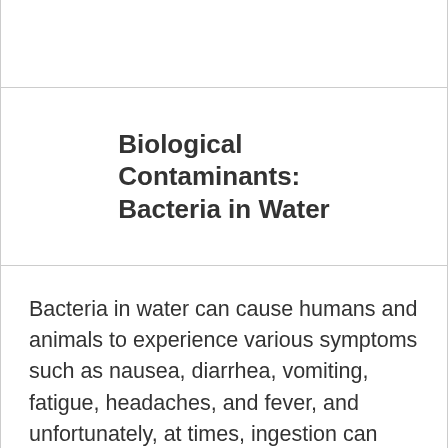Biological Contaminants: Bacteria in Water
Bacteria in water can cause humans and animals to experience various symptoms such as nausea, diarrhea, vomiting, fatigue, headaches, and fever, and unfortunately, at times, ingestion can prove fatal.  Many common types of bacteria can cause ti...